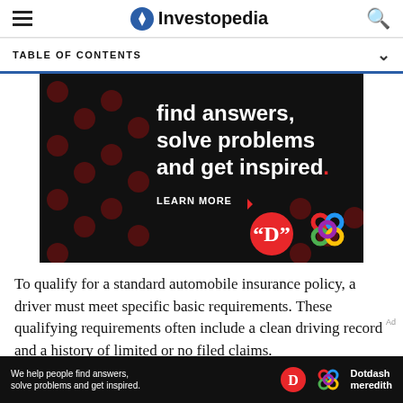Investopedia
TABLE OF CONTENTS
[Figure (advertisement): Dark advertisement banner with text: find answers, solve problems and get inspired. LEARN MORE. Dotdash Meredith logos.]
To qualify for a standard automobile insurance policy, a driver must meet specific basic requirements. These qualifying requirements often include a clean driving record and a history of limited or no filed claims.
[Figure (advertisement): Bottom sticky ad banner: We help people find answers, solve problems and get inspired. Dotdash Meredith logos.]